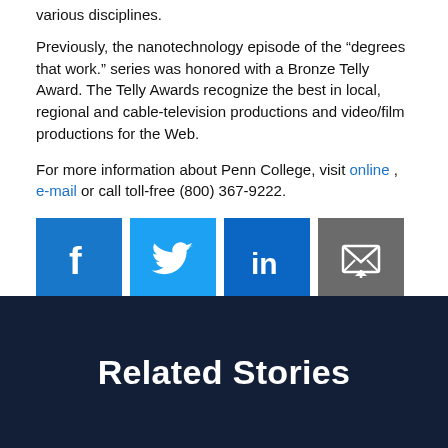various disciplines.
Previously, the nanotechnology episode of the “degrees that work.” series was honored with a Bronze Telly Award. The Telly Awards recognize the best in local, regional and cable-television productions and video/film productions for the Web.
For more information about Penn College, visit online , e-mail or call toll-free (800) 367-9222.
[Figure (infographic): Social media sharing icons: Facebook (blue), Twitter (blue), LinkedIn (blue), Email (grey)]
Subscribe to PCToday Daily Email
Related Stories